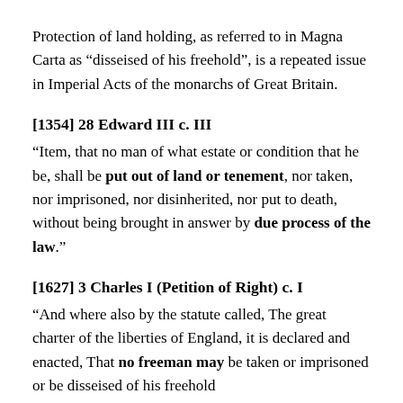Protection of land holding, as referred to in Magna Carta as “disseised of his freehold”, is a repeated issue in Imperial Acts of the monarchs of Great Britain.
[1354] 28 Edward III c. III
“Item, that no man of what estate or condition that he be, shall be put out of land or tenement, nor taken, nor imprisoned, nor disinherited, nor put to death, without being brought in answer by due process of the law.”
[1627] 3 Charles I (Petition of Right) c. I
“And where also by the statute called, The great charter of the liberties of England, it is declared and enacted, That no freeman may be taken or imprisoned or be disseised of his freehold...